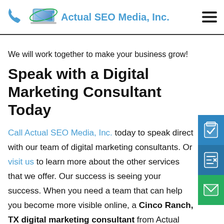Actual SEO Media, Inc.
We will work together to make your business grow!
Speak with a Digital Marketing Consultant Today
Call Actual SEO Media, Inc. today to speak directly with our team of digital marketing consultants. Or visit us to learn more about the other services that we offer. Our success is seeing your success. When you need a team that can help you become more visible online, a Cinco Ranch, TX digital marketing consultant from Actual SEO Media, Inc. is who